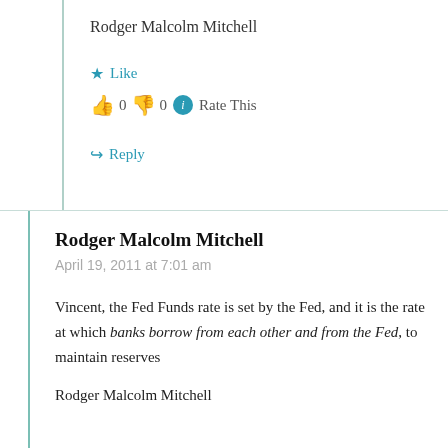Rodger Malcolm Mitchell
★ Like
👍 0 👎 0 ℹ Rate This
↪ Reply
Rodger Malcolm Mitchell
April 19, 2011 at 7:01 am
Vincent, the Fed Funds rate is set by the Fed, and it is the rate at which banks borrow from each other and from the Fed, to maintain reserves
Rodger Malcolm Mitchell